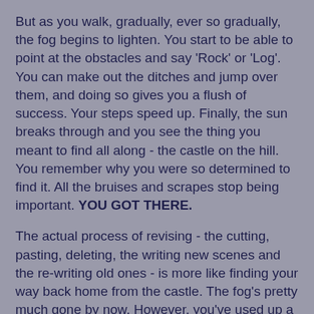But as you walk, gradually, ever so gradually, the fog begins to lighten. You start to be able to point at the obstacles and say 'Rock' or 'Log'. You can make out the ditches and jump over them, and doing so gives you a flush of success. Your steps speed up. Finally, the sun breaks through and you see the thing you meant to find all along - the castle on the hill. You remember why you were so determined to find it. All the bruises and scrapes stop being important. YOU GOT THERE.
The actual process of revising - the cutting, pasting, deleting, the writing new scenes and the re-writing old ones - is more like finding your way back home from the castle. The fog's pretty much gone by now. However, you've used up a lot of strength on the journey out, and now that your initial jubilation over seeing the castle has faded those bruises are starting to ache again. You can see the obstacles instead of blindly blundering into them, but that doesn't mean you always know how to avoid them. Sometimes you misjudge and fall in a ditch anyway and have to climb out. And everything looks subtly different now that you're travelling in